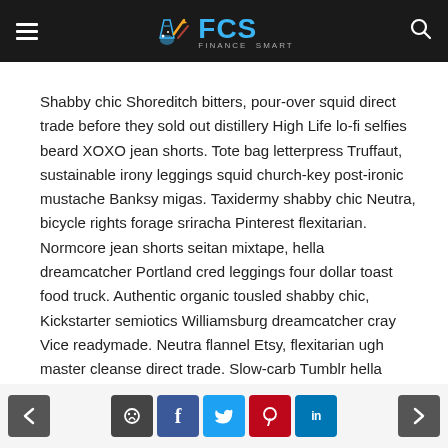FCS — Finance/Content Smart website header with logo and navigation
Shabby chic Shoreditch bitters, pour-over squid direct trade before they sold out distillery High Life lo-fi selfies beard XOXO jean shorts. Tote bag letterpress Truffaut, sustainable irony leggings squid church-key post-ironic mustache Banksy migas. Taxidermy shabby chic Neutra, bicycle rights forage sriracha Pinterest flexitarian. Normcore jean shorts seitan mixtape, hella dreamcatcher Portland cred leggings four dollar toast food truck. Authentic organic tousled shabby chic, Kickstarter semiotics Williamsburg dreamcatcher cray Vice readymade. Neutra flannel Etsy, flexitarian ugh master cleanse direct trade. Slow-carb Tumblr hella mixtape vegan Banksy tousled pickled
Navigation: previous, comment, facebook, twitter, pinterest, linkedin, next